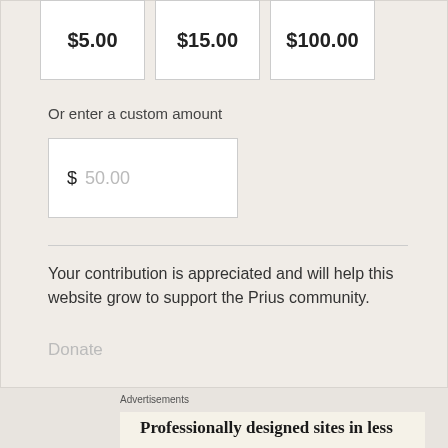$5.00
$15.00
$100.00
Or enter a custom amount
$ 50.00
Your contribution is appreciated and will help this website grow to support the Prius community.
Donate
Advertisements
Professionally designed sites in less